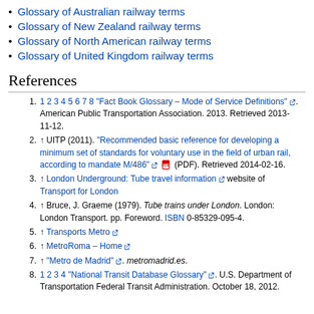Glossary of Australian railway terms
Glossary of New Zealand railway terms
Glossary of North American railway terms
Glossary of United Kingdom railway terms
References
1 2 3 4 5 6 7 8 "Fact Book Glossary – Mode of Service Definitions". American Public Transportation Association. 2013. Retrieved 2013-11-12.
↑ UITP (2011). "Recommended basic reference for developing a minimum set of standards for voluntary use in the field of urban rail, according to mandate M/486" (PDF). Retrieved 2014-02-16.
↑ London Underground: Tube travel information website of Transport for London
↑ Bruce, J. Graeme (1979). Tube trains under London. London: London Transport. pp. Foreword. ISBN 0-85329-095-4.
↑ Transports Metro
↑ MetroRoma – Home
↑ "Metro de Madrid". metromadrid.es.
1 2 3 4 "National Transit Database Glossary". U.S. Department of Transportation Federal Transit Administration. October 18, 2012.